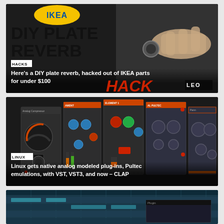[Figure (photo): DIY Plate Reverb article card with IKEA logo, large text 'DIY PLATE REVERB', 'HACK' in red, a hand touching a device on the right, HACKS tag, and headline text]
Here's a DIY plate reverb, hacked out of IKEA parts for under $100
[Figure (photo): Linux audio plug-ins article card showing multiple audio plugin interfaces (compressors, EQs) in dark UI with LINUX tag and headline text]
Linux gets native analog modeled plug-ins, Pultec emulations, with VST, VST3, and now – CLAP
[Figure (screenshot): Third article card partially visible showing a DAW/audio software interface with teal/blue background]